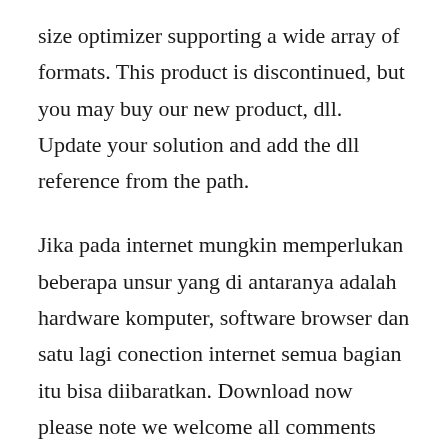size optimizer supporting a wide array of formats. This product is discontinued, but you may buy our new product, dll. Update your solution and add the dll reference from the path.
Jika pada internet mungkin memperlukan beberapa unsur yang di antaranya adalah hardware komputer, software browser dan satu lagi conection internet semua bagian itu bisa diibaratkan. Download now please note we welcome all comments and believe in free speech, but we do have some baic ground.